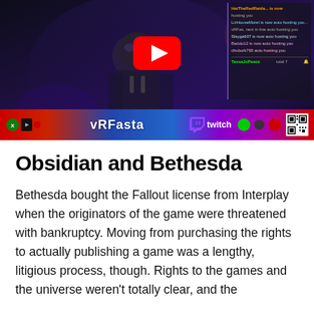[Figure (screenshot): YouTube video thumbnail showing a game character (Fallout-related) with a YouTube play button overlay, a Twitch chat panel on the right, and a bottom bar showing 'vRFasta' channel name and Twitch logo]
Obsidian and Bethesda
Bethesda bought the Fallout license from Interplay when the originators of the game were threatened with bankruptcy. Moving from purchasing the rights to actually publishing a game was a lengthy, litigious process, though. Rights to the games and the universe weren't totally clear, and the